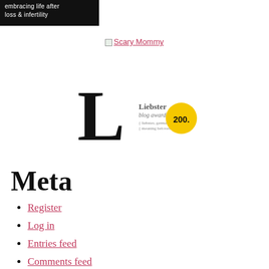[Figure (logo): Black banner with white text reading 'embracing life after loss & infertility']
[Figure (logo): Scary Mommy link with broken image icon and pink/red underlined text]
[Figure (logo): Liebster blog award image with large L letterform and gold circle showing 200.]
Meta
Register
Log in
Entries feed
Comments feed
WordPress.com